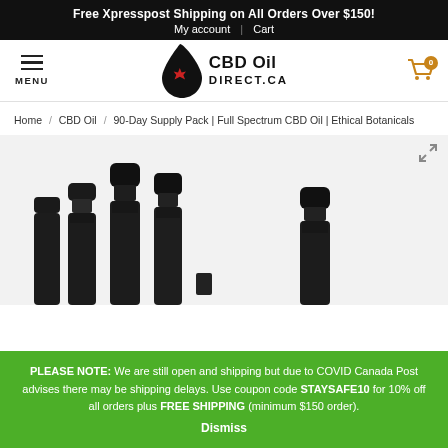Free Xpresspost Shipping on All Orders Over $150! My account | Cart
[Figure (logo): CBD Oil Direct.ca logo with a black droplet containing a red maple leaf, and bold text 'CBD Oil DIRECT.CA']
MENU (hamburger menu icon)
Cart icon with badge showing 0
Home / CBD Oil / 90-Day Supply Pack | Full Spectrum CBD Oil | Ethical Botanicals
[Figure (photo): Product photo showing multiple black dropper bottles of CBD oil, partially cut off at the bottom of the frame. Two groups of bottles visible — a cluster of three on the left and one on the right.]
PLEASE NOTE: We are still open and shipping but due to COVID Canada Post advises there may be shipping delays. Use coupon code STAYSAFE10 for 10% off all orders plus FREE SHIPPING (minimum $150 order). Dismiss